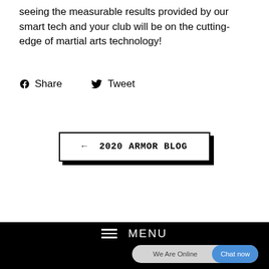seeing the measurable results provided by our smart tech and your club will be on the cutting-edge of martial arts technology!
Share   Tweet
← 2020 ARMOR BLOG
≡ MENU
We Are Online  Chat now